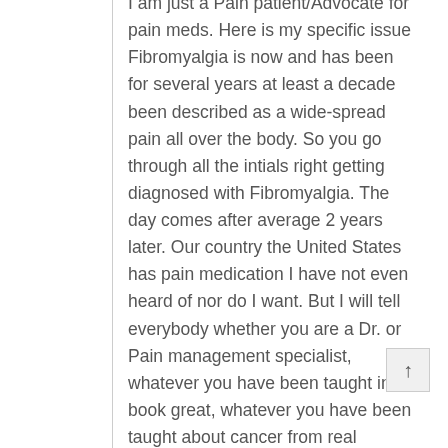I am just a Pain patient/Advocate for pain meds. Here is my specific issue Fibromyalgia is now and has been for several years at least a decade been described as a wide-spread pain all over the body. So you go through all the intials right getting diagnosed with Fibromyalgia. The day comes after average 2 years later. Our country the United States has pain medication I have not even heard of nor do I want. But I will tell everybody whether you are a Dr. or Pain management specialist, whatever you have been taught in a book great, whatever you have been taught about cancer from real